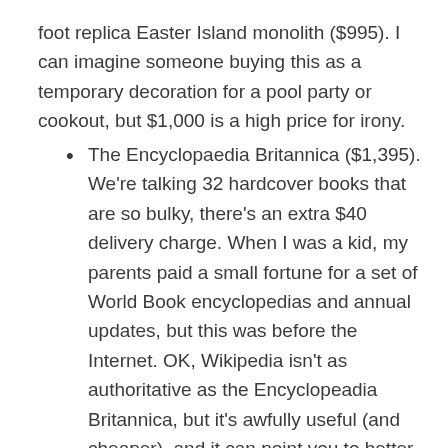foot replica Easter Island monolith ($995). I can imagine someone buying this as a temporary decoration for a pool party or cookout, but $1,000 is a high price for irony.
The Encyclopaedia Britannica ($1,395). We're talking 32 hardcover books that are so bulky, there's an extra $40 delivery charge. When I was a kid, my parents paid a small fortune for a set of World Book encyclopedias and annual updates, but this was before the Internet. OK, Wikipedia isn't as authoritative as the Encyclopeadia Britannica, but it's awfully useful (and cheaper), and it can point you to better sources online (that are also cheaper). SkyMall seems to understand this. It also sells a set of 2 different versions of the